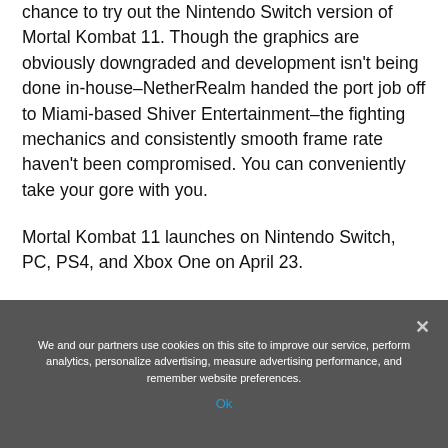chance to try out the Nintendo Switch version of Mortal Kombat 11. Though the graphics are obviously downgraded and development isn't being done in-house–NetherRealm handed the port job off to Miami-based Shiver Entertainment–the fighting mechanics and consistently smooth frame rate haven't been compromised. You can conveniently take your gore with you.
Mortal Kombat 11 launches on Nintendo Switch, PC, PS4, and Xbox One on April 23.
Source: Read Full Article
We and our partners use cookies on this site to improve our service, perform analytics, personalize advertising, measure advertising performance, and remember website preferences.
Ok